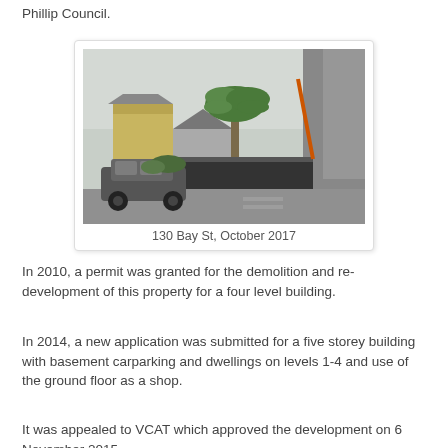Phillip Council.
[Figure (photo): Street-level photograph of 130 Bay St showing a dark SUV parked on the street, a house with a large palm tree, construction hoarding, and a modern building to the right. Taken October 2017.]
130 Bay St, October 2017
In 2010, a permit was granted for the demolition and re-development of this property for a four level building.
In 2014, a new application was submitted for a five storey building with basement carparking and dwellings on levels 1-4 and use of the ground floor as a shop.
It was appealed to VCAT which approved the development on 6 November 2015.